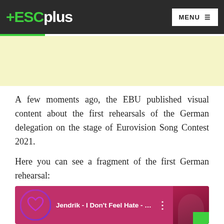+ESCplus | MENU ☰
A few moments ago, the EBU published visual content about the first rehearsals of the German delegation on the stage of Eurovision Song Contest 2021.
Here you can see a fragment of the first German rehearsal:
[Figure (screenshot): Video thumbnail showing 'Jendrik - I Don't Feel Hate - First R...' with a heart icon avatar on the left and a person with short hair visible on the right, on a pink/red background, with a green corner element.]